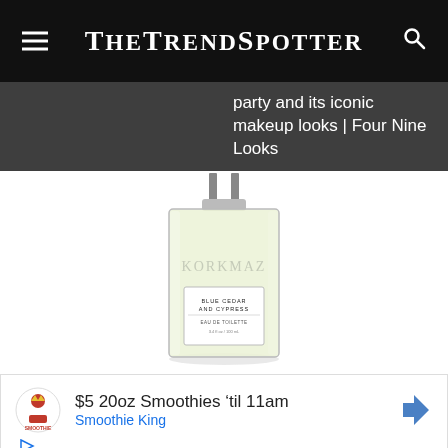TheTrendSpotter
party and its iconic makeup looks | Four Nine Looks
[Figure (photo): A glass perfume bottle labeled 'Blue Cedar and Cypress Eau de Toilette' by Korkmaz, with a silver cap, rectangular shape, transparent glass showing pale yellow liquid inside, on a white background.]
[Figure (infographic): Advertisement box: Smoothie King logo on left, text '$5 20oz Smoothies til 11am' and 'Smoothie King' in blue, navigation arrow icon on right, play and close icons at bottom left.]